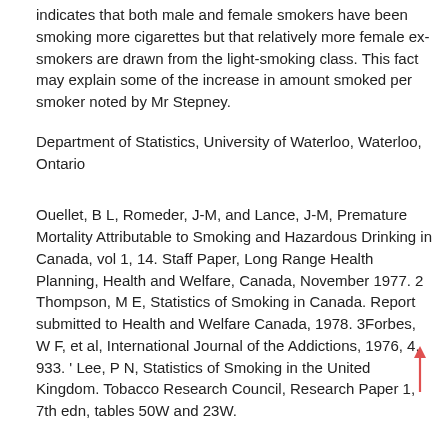indicates that both male and female smokers have been smoking more cigarettes but that relatively more female ex-smokers are drawn from the light-smoking class. This fact may explain some of the increase in amount smoked per smoker noted by Mr Stepney.
Department of Statistics, University of Waterloo, Waterloo, Ontario
Ouellet, B L, Romeder, J-M, and Lance, J-M, Premature Mortality Attributable to Smoking and Hazardous Drinking in Canada, vol 1, 14. Staff Paper, Long Range Health Planning, Health and Welfare, Canada, November 1977. 2 Thompson, M E, Statistics of Smoking in Canada. Report submitted to Health and Welfare Canada, 1978. 3Forbes, W F, et al, International Journal of the Addictions, 1976, 4, 933. ' Lee, P N, Statistics of Smoking in the United Kingdom. Tobacco Research Council, Research Paper 1, 7th edn, tables 50W and 23W.
Lithium carbonate and tetracycline interaction SIR,-Dr A J